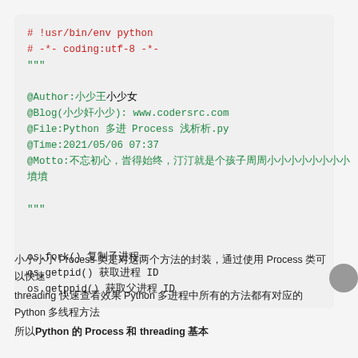[Figure (screenshot): Python source code block with syntax-highlighted comments, docstring metadata, and os module function references: os.fork(), os.getpid(), os.getppid()]
下面 Process 类是对这两个方法的封装，通过使用 Process 类可以快速 threading 快速查看效果 Python 多进程中所有的方法都有对应的 Python 多线程方法 所以Python 的 Process 和 threading 基本